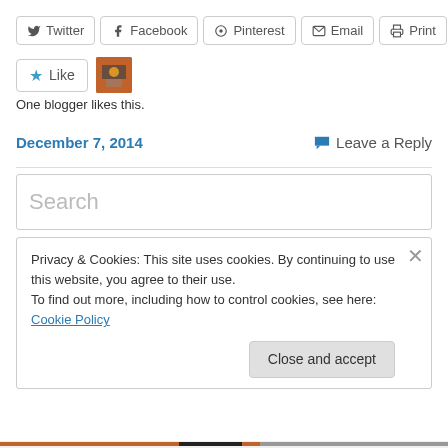[Figure (other): Social sharing buttons row: Twitter, Facebook, Pinterest, Email, Print]
[Figure (other): Like button widget with star icon and a blogger avatar thumbnail. Text: One blogger likes this.]
One blogger likes this.
December 7, 2014    Leave a Reply
Search
Privacy & Cookies: This site uses cookies. By continuing to use this website, you agree to their use.
To find out more, including how to control cookies, see here: Cookie Policy
Close and accept